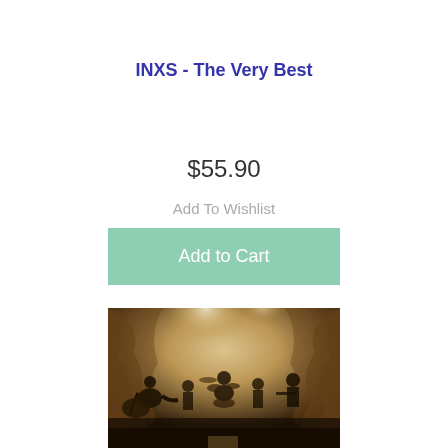INXS - The Very Best
$55.90
Add To Wishlist
Add to Cart
[Figure (photo): Sepia-toned concert/band photo showing musicians performing on a darkened stage with draped fabric backdrop and dramatic lighting. Multiple band members visible with guitars and drums.]